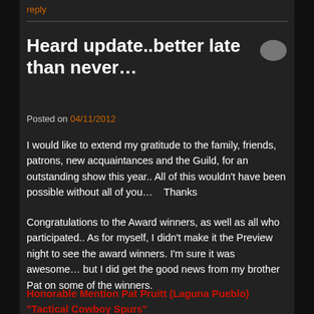reply
Heard update..better late than never…
Posted on 04/11/2012
I would like to extend my gratitude to the family, friends, patrons, new acquaintances and the Guild, for an outstanding show this year.. All of this wouldn't have been possible without all of you…   Thanks
Congratulations to the Award winners, as well as all who participated.. As for myself, I didn't make it the Preview night to see the award winners. I'm sure it was awesome… but I did get the good news from my brother Pat on some of the winners.
Honorable Mention Pat Pruitt (Laguna Pueblo) "Tactical Cowboy Spurs"